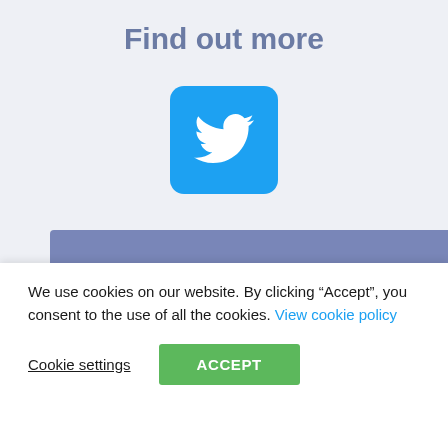Find out more
[Figure (logo): Twitter bird logo in white on a blue rounded-square background]
Become a member
We use cookies on our website. By clicking “Accept”, you consent to the use of all the cookies. View cookie policy
Cookie settings
ACCEPT